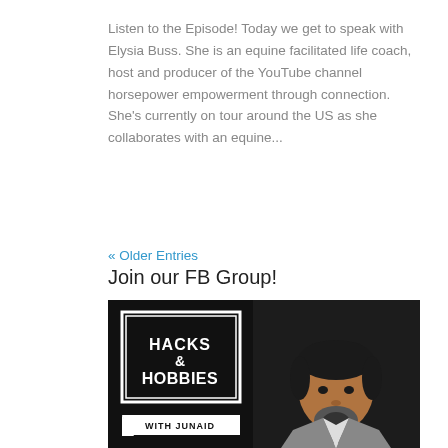Listen to the Episode! Today we get to speak with Elysia Buss. She is an equine facilitated life coach, host and producer of the YouTube channel horsepower empowerment through connection. She's currently on tour around the US as she collaborates with an equine...
« Older Entries
Join our FB Group!
[Figure (photo): Promotional image for 'Hacks & Hobbies with Junaid' podcast/show. Dark background with the show logo on the left (white text in a rectangular badge reading 'HACKS & HOBBIES WITH JUNAID') and a man with dark hair and beard wearing a grey suit on the right.]